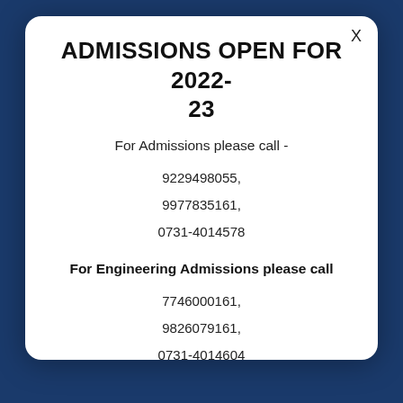ADMISSIONS OPEN FOR 2022-23
For Admissions please call -
9229498055,
9977835161,
0731-4014578
For Engineering Admissions please call
7746000161,
9826079161,
0731-4014604